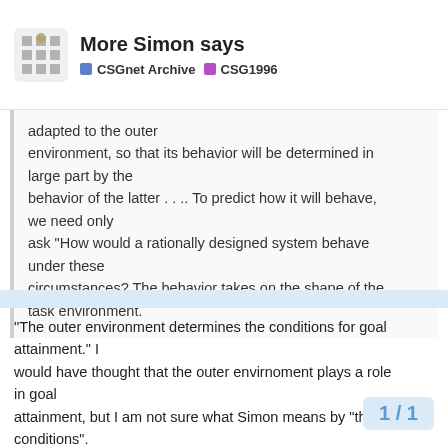More Simon says | CSGnet Archive | CSG1996
adapted to the outer environment, so that its behavior will be determined in large part by the behavior of the latter . . .. To predict how it will behave, we need only ask "How would a rationally designed system behave under these circumstances? The behavior takes on the shape of the task environment.
"The outer environment determines the conditions for goal attainment." I would have thought that the outer envirnoment plays a role in goal attainment, but I am not sure what Simon means by "the conditions". Certainly some of these conditions are internal to the organism. Since